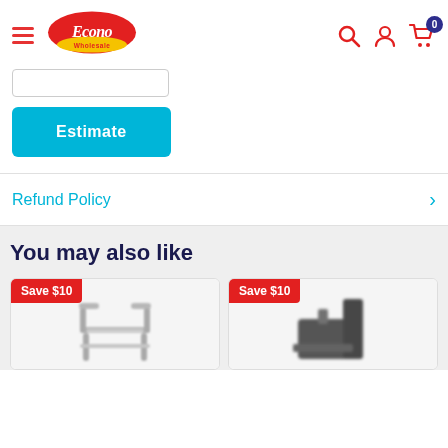Econo Wholesale - navigation header with hamburger menu, logo, search, account, and cart icons (badge: 0)
[Figure (logo): Econo Wholesale logo - red oval with white cursive text 'Econo' and yellow banner 'Wholesale']
Estimate
Refund Policy
You may also like
[Figure (photo): Product card with 'Save $10' badge showing a metal walker/shower bench in grey]
[Figure (photo): Product card with 'Save $10' badge showing a black product (partially visible)]